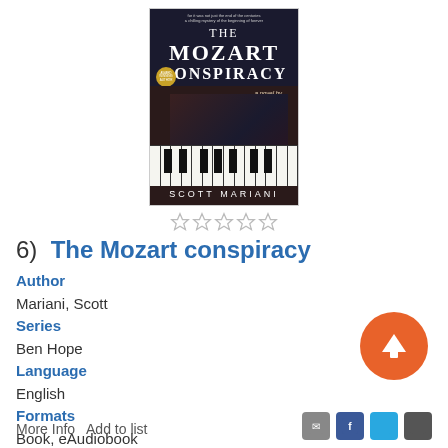[Figure (photo): Book cover of 'The Mozart Conspiracy' by Scott Mariani, showing a dark background with piano keys and hands holding a gun, with the title in white text.]
[Figure (other): Five empty star rating icons in a row]
6)  The Mozart conspiracy
Author
Mariani, Scott
Series
Ben Hope
Language
English
Formats
Book, eAudiobook
Description
Read Description
More Info   Add to list
[Figure (other): Orange circular scroll-to-top button with white upward arrow]